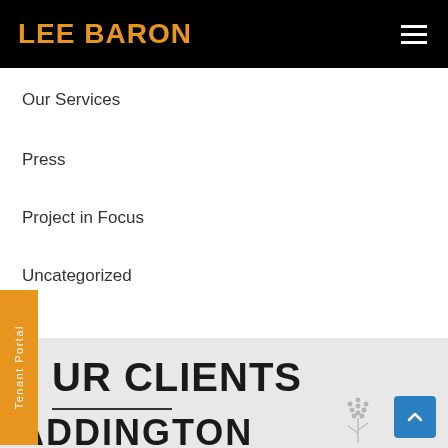LEE BARON
Our Services
Press
Project in Focus
Uncategorized
OUR CLIENTS
ADDINGTON